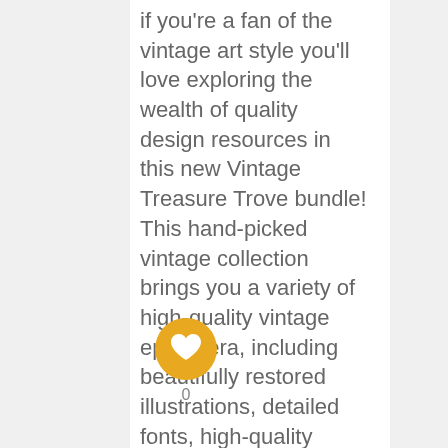if you're a fan of the vintage art style you'll love exploring the wealth of quality design resources in this new Vintage Treasure Trove bundle! This hand-picked vintage collection brings you a variety of high-quality vintage ephemera, including beautifully restored illustrations, detailed fonts, high-quality textures
[Figure (infographic): A golden/amber circular button with a white heart icon in the center, representing a 'like' or 'favorite' button. Below it is the number 0.]